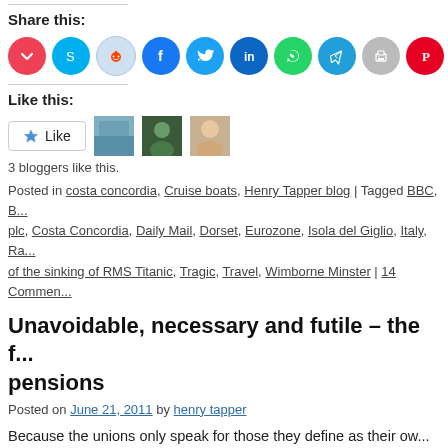Share this:
[Figure (infographic): Row of social sharing icon buttons: Pocket (red), Skype (blue), Reddit (light blue/grey), Facebook (blue), Twitter (blue), LinkedIn (dark blue), WhatsApp (green), Telegram (blue), Print (grey), Pinterest (red), Email (grey), and one more partially visible.]
Like this:
[Figure (infographic): Like button with star icon and three blogger avatar thumbnails showing landscape, person, and person photos.]
3 bloggers like this.
Posted in costa concordia, Cruise boats, Henry Tapper blog | Tagged BBC, B... plc, Costa Concordia, Daily Mail, Dorset, Eurozone, Isola del Giglio, Italy, Ra... of the sinking of RMS Titanic, Tragic, Travel, Wimborne Minster | 14 Commen...
Unavoidable, necessary and futile – the f... pensions
Posted on June 21, 2011 by henry tapper
Because the unions only speak for those they define as their ow... for them. Continue reading →